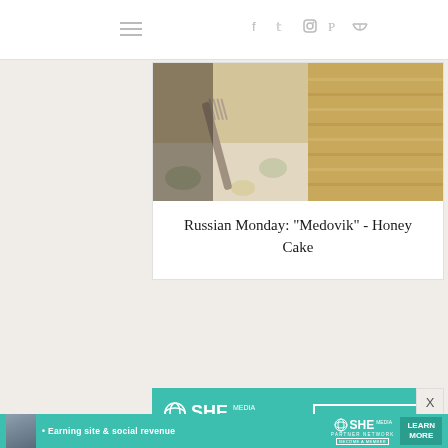≡  f  t  ⧉  P  RSS
[Figure (photo): Close-up photo of a slice of layered honey cake (Medovik) on a floral plate with a fork]
Russian Monday: "Medovik" - Honey Cake
[Figure (infographic): SHE Media Partner Network advertisement with 'BECOME A MEMBER' button on teal background]
[Figure (infographic): SHE Media Partner Network bottom banner: '• Earning site & social revenue' with LEARN MORE button]